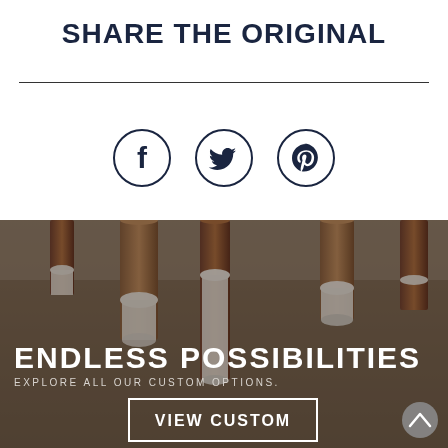SHARE THE ORIGINAL
[Figure (illustration): Three social media icons in circles: Facebook (f), Twitter (bird), Pinterest (P/circle with pin)]
[Figure (photo): Photo of hanging pendant lights with copper/bronze cylindrical shades and white diffusers, overlaid with bold white text reading ENDLESS POSSIBILITIES and a subtitle EXPLORE ALL OUR CUSTOM OPTIONS, with a VIEW CUSTOM button and a scroll-up button at bottom right]
ENDLESS POSSIBILITIES
EXPLORE ALL OUR CUSTOM OPTIONS.
VIEW CUSTOM